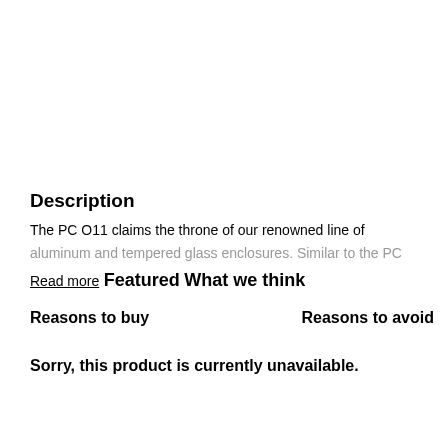Description
The PC O11 claims the throne of our renowned line of aluminum and tempered glass enclosures. Similar to the PC
Read more
Featured
What we think
Reasons to buy
Reasons to avoid
Sorry, this product is currently unavailable.